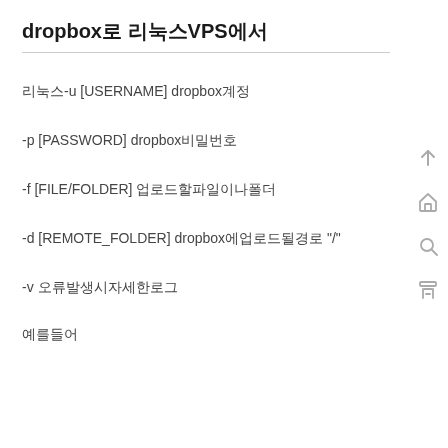dropbox로 리눅스VPS에서
리눅스-u [USERNAME] dropbox계정
-p [PASSWORD] dropbox비밀번호
-f [FILE/FOLDER] 업로드할파일이나폴더
-d [REMOTE_FOLDER] dropbox에업로드될경로 "/"
-v 오류발생시자세한로그
예를들어